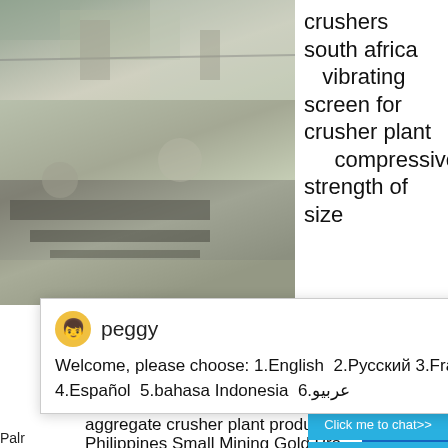[Figure (photo): Quarry/crusher site with industrial machinery, top image]
[Figure (photo): Quarry/crusher site with equipment and rock face, middle image]
crushers south africa
   vibrating screen for crusher plant
      compressive strength of size
[Figure (screenshot): Chat popup with agent Peggy offering language selection: 1.English 2.Русский 3.Français 4.Español 5.bahasa Indonesia 6.عربي]
aggregate crusher plant production
Philippines Small Mining Gold Pro
quality line impact crushers for sand processing
Nigerian C
Nigeria  a
and sinter a
crushing plant grea
the mining equipm
Palr
PALM KER
kernel crushing
More
Get Price
Email contact
1
Click me to chat>>
Enquiry
yuwencrusher